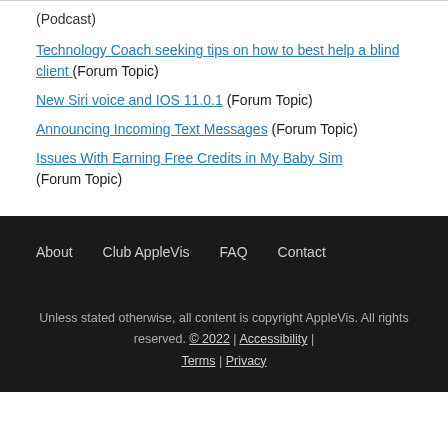(Podcast)
Technology Coach seeking tips on how to best help a blind client (Forum Topic)
New Siri voice and IOS 11.0.1 (Forum Topic)
Announcing Incoming Text Messages (Forum Topic)
Issues With Earning Free Credits in My Baby Sim (Forum Topic)
About  Club AppleVis  FAQ  Contact
Unless stated otherwise, all content is copyright AppleVis. All rights reserved. © 2022 | Accessibility | Terms | Privacy